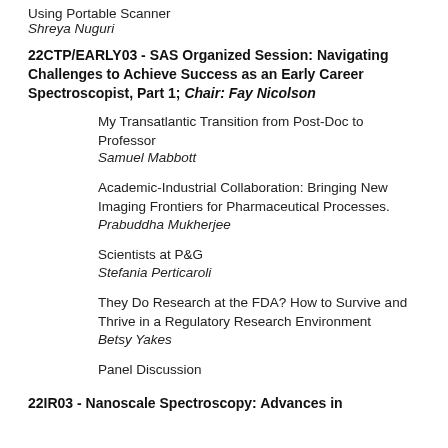Using Portable Scanner
Shreya Nuguri
22CTP/EARLY03 - SAS Organized Session: Navigating Challenges to Achieve Success as an Early Career Spectroscopist, Part 1; Chair: Fay Nicolson
My Transatlantic Transition from Post-Doc to Professor
Samuel Mabbott
Academic-Industrial Collaboration: Bringing New Imaging Frontiers for Pharmaceutical Processes.
Prabuddha Mukherjee
Scientists at P&G
Stefania Perticaroli
They Do Research at the FDA? How to Survive and Thrive in a Regulatory Research Environment
Betsy Yakes
Panel Discussion
22IR03 - Nanoscale Spectroscopy: Advances in